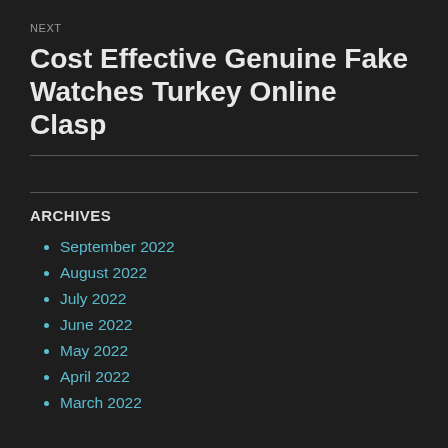NEXT
Cost Effective Genuine Fake Watches Turkey Online Clasp
ARCHIVES
September 2022
August 2022
July 2022
June 2022
May 2022
April 2022
March 2022